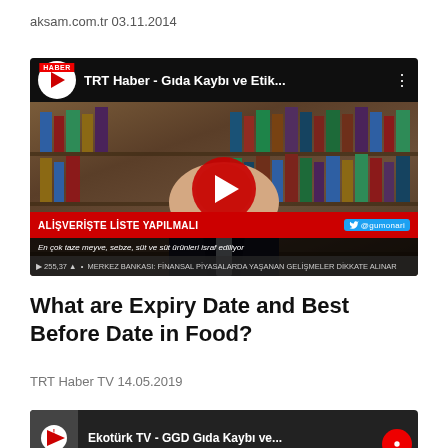aksam.com.tr 03.11.2014
[Figure (screenshot): YouTube video thumbnail for TRT Haber - Gıda Kaybı ve Etik... showing a man in a suit in front of bookshelves, with a red play button, lower third text ALİŞVERİŞTE LİSTE YAPILMALI and ticker MERKEZ BANKASI: FİNANSAL PİYASALARDA YAŞANAN GELİŞMELER DİKKATE ALINAR]
What are Expiry Date and Best Before Date in Food?
TRT Haber TV 14.05.2019
[Figure (screenshot): Partially visible YouTube video thumbnail for Ekotürk TV - GGD Gıda Kaybı ve... with red warning icon]